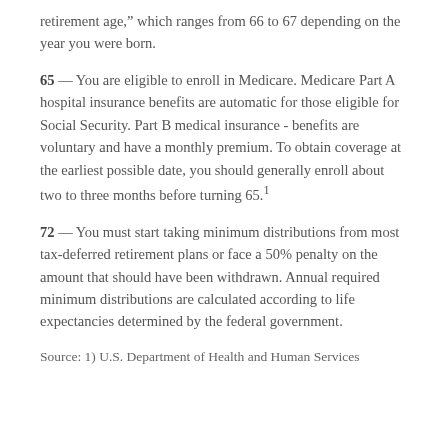retirement age,” which ranges from 66 to 67 depending on the year you were born.
65 — You are eligible to enroll in Medicare. Medicare Part A hospital insurance benefits are automatic for those eligible for Social Security. Part B medical insurance - benefits are voluntary and have a monthly premium. To obtain coverage at the earliest possible date, you should generally enroll about two to three months before turning 65.¹
72 — You must start taking minimum distributions from most tax-deferred retirement plans or face a 50% penalty on the amount that should have been withdrawn. Annual required minimum distributions are calculated according to life expectancies determined by the federal government.
Source: 1) U.S. Department of Health and Human Services